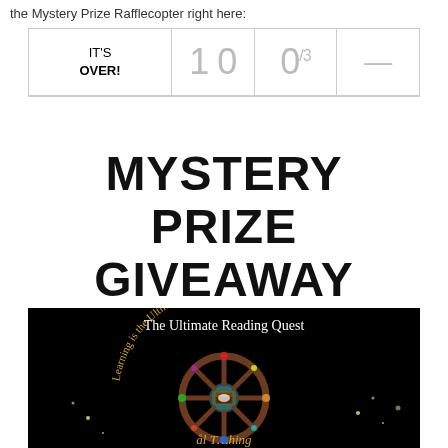the Mystery Prize Rafflecopter right here:
| IT'S OVER! | 1 0 | 0/3 | — |
MYSTERY PRIZE GIVEAWAY
[Figure (illustration): The Ultimate Reading Quest logo on black background: a ship's wheel with a treasure chest in the center, text 'Learning is the Ultimate Treasure' curved around it, and partial text at bottom.]